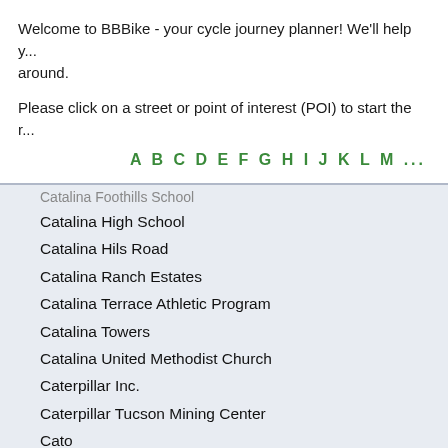Welcome to BBBike - your cycle journey planner! We'll help y... around.
Please click on a street or point of interest (POI) to start the r...
A B C D E F G H I J K L M ...
Catalina Foothills School (partial)
Catalina High School
Catalina Hils Road
Catalina Ranch Estates
Catalina Terrace Athletic Program
Catalina Towers
Catalina United Methodist Church
Caterpillar Inc.
Caterpillar Tucson Mining Center
Cato
Cattletank History Wall
Cave Creek Drive
Cavett Elementary School
Cazados de Los Alamos
Cedar Hill Drive
Cedar Ridge Road
Cedar Street